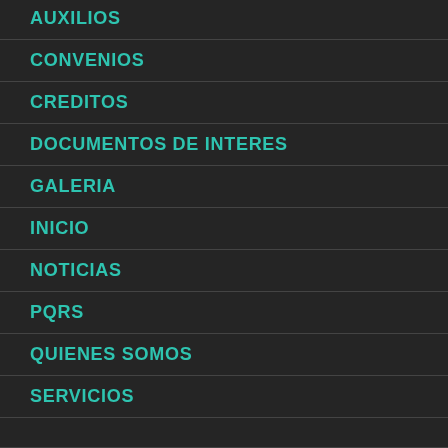AUXILIOS
CONVENIOS
CREDITOS
DOCUMENTOS DE INTERES
GALERIA
INICIO
NOTICIAS
PQRS
QUIENES SOMOS
SERVICIOS